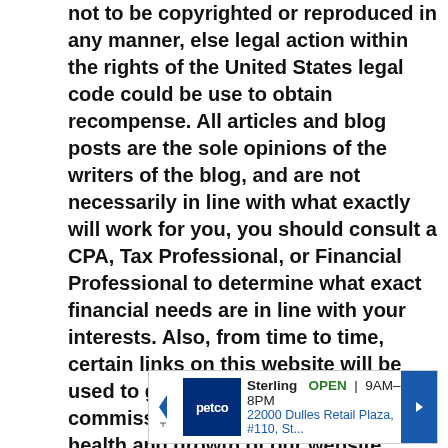not to be copyrighted or reproduced in any manner, else legal action within the rights of the United States legal code could be use to obtain recompense. All articles and blog posts are the sole opinions of the writers of the blog, and are not necessarily in line with what exactly will work for you, you should consult a CPA, Tax Professional, or Financial Professional to determine what exact financial needs are in line with your interests. Also, from time to time, certain links on this website will be used to generate affiliate commissions, in order to support the health and growth of our website, health and business.
[Figure (other): Petco advertisement banner showing store location in Sterling, OPEN 9AM-8PM, 22000 Dulles Retail Plaza, #110, St...]